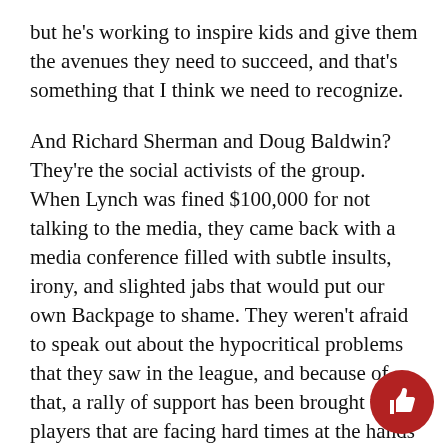but he's working to inspire kids and give them the avenues they need to succeed, and that's something that I think we need to recognize.
And Richard Sherman and Doug Baldwin? They're the social activists of the group. When Lynch was fined $100,000 for not talking to the media, they came back with a media conference filled with subtle insults, irony, and slighted jabs that would put our own Backpage to shame. They weren't afraid to speak out about the hypocritical problems that they saw in the league, and because of that, a rally of support has been brought to the players that are facing hard times at the hands of the NFL.
So sure, the Seahawks are what every athlete aspires to be: successful, famous, a force to be reckoned with on the field. But I think that the Liberty community should look at that to the benefit of the field and...